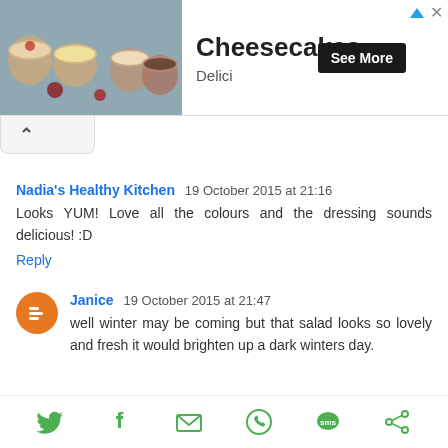[Figure (photo): Advertisement banner with photo of cheesecakes in glass jars on the left, title 'Cheesecakes', subtitle 'Delici', and 'See More' button]
[Figure (screenshot): Collapse/chevron up button bar]
Nadia's Healthy Kitchen 19 October 2015 at 21:16
Looks YUM! Love all the colours and the dressing sounds delicious! :D
Reply
Janice 19 October 2015 at 21:47
well winter may be coming but that salad looks so lovely and fresh it would brighten up a dark winters day.
[Figure (infographic): Social share bar with Twitter, Facebook, Email, WhatsApp, SMS, and another share icon]